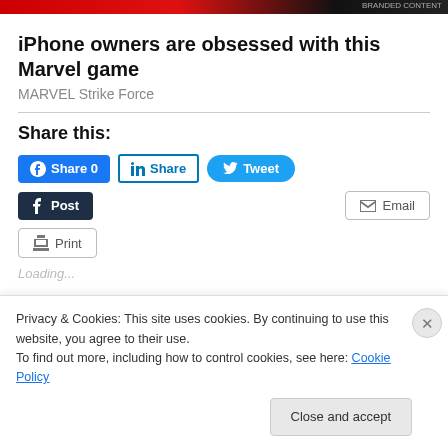[Figure (illustration): Top banner with Marvel game advertisement colors - red and dark/black stripe]
iPhone owners are obsessed with this Marvel game
MARVEL Strike Force
Share this:
[Figure (screenshot): Social share buttons: Facebook Share 0, LinkedIn Share, Twitter Tweet, Tumblr Post, Email, Print]
Privacy & Cookies: This site uses cookies. By continuing to use this website, you agree to their use.
To find out more, including how to control cookies, see here: Cookie Policy
Close and accept